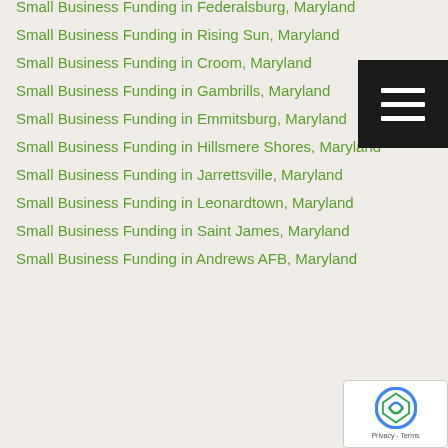Small Business Funding in Federalsburg, Maryland
Small Business Funding in Rising Sun, Maryland
Small Business Funding in Croom, Maryland
Small Business Funding in Gambrills, Maryland
Small Business Funding in Emmitsburg, Maryland
Small Business Funding in Hillsmere Shores, Maryland
Small Business Funding in Jarrettsville, Maryland
Small Business Funding in Leonardtown, Maryland
Small Business Funding in Saint James, Maryland
Small Business Funding in Andrews AFB, Maryland